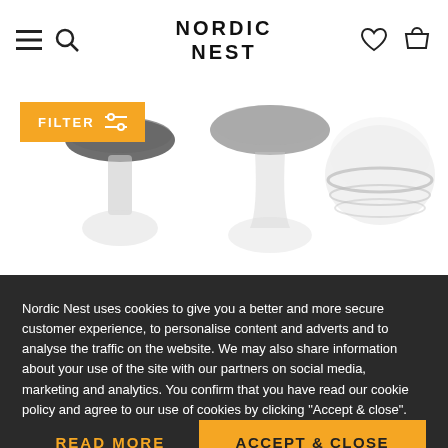NORDIC NEST
[Figure (photo): Product photos of glass bowls/candle holders on white background with orange FILTER button overlay]
Nordic Nest uses cookies to give you a better and more secure customer experience, to personalise content and adverts and to analyse the traffic on the website. We may also share information about your use of the site with our partners on social media, marketing and analytics. You confirm that you have read our cookie policy and agree to our use of cookies by clicking "Accept & close".
READ MORE
ACCEPT & CLOSE